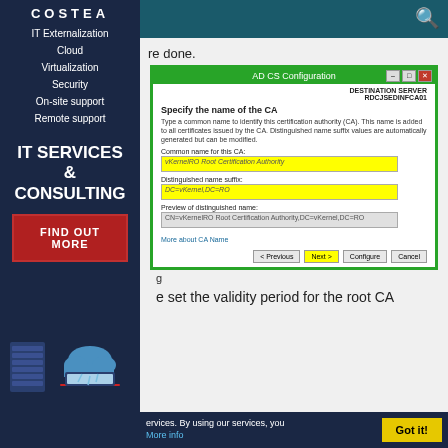COSTEA
IT Externalization
Cloud
Virtualization
Security
On-site support
Remote support
IT SERVICES & CONSULTING
FIND OUT MORE
re done.
[Figure (screenshot): AD CS Configuration dialog box showing fields: Specify the name of the CA, Common name for this CA: vKernelRO Root Certification Authority, Distinguished name suffix: DC=vKernel,DC=RO, Preview of distinguished name: CN=vKernelRO Root Certification Authority,DC=vKernel,DC=RO. Buttons: Previous, Next, Configure, Cancel. Destination Server: RDCJSEDINFCA01.]
g
e set the validity period for the root CA
ervices. By using our services, you
More info
Got it!